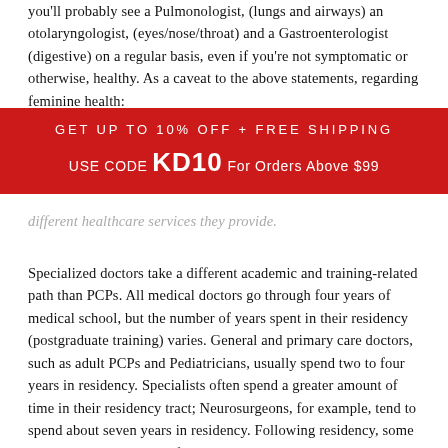you'll probably see a Pulmonologist, (lungs and airways) an otolaryngologist, (eyes/nose/throat) and a Gastroenterologist (digestive) on a regular basis, even if you're not symptomatic or otherwise, healthy. As a caveat to the above statements, regarding feminine health:
GET UP TO 10% OFF + FREE SHIPPING

USE CODE KD10 For Orders Above $99
different healthcare services they provide.
Specialized doctors take a different academic and training-related path than PCPs. All medical doctors go through four years of medical school, but the number of years spent in their residency (postgraduate training) varies. General and primary care doctors, such as adult PCPs and Pediatricians, usually spend two to four years in residency. Specialists often spend a greater amount of time in their residency tract; Neurosurgeons, for example, tend to spend about seven years in residency. Following residency, some doctors may enter into a fellowship, though this is not the case for all. For some, there may be an integrated fellowship during residency. The point of all this is that there's an extremely high investment in their training and education; although doctors are not infallible, and it's often healthy (no pun intended) to get a second opinion, they're well equipped for what it is that they do. There are other types of specialists as well; a Doctor of Physical Therapy, for example, goes through a clinical doctoral program, although this is a different th...